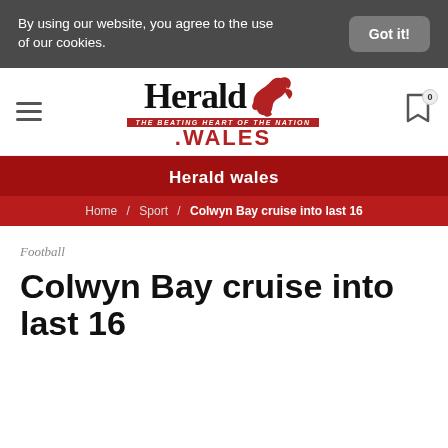By using our website, you agree to the use of our cookies.
Got it!
[Figure (logo): Herald.Wales logo with red dragon and tagline 'THE BEATING HEART OF THE NATION']
Herald wales
Home / Sport / Colwyn Bay cruise into last 16
Football
Colwyn Bay cruise into last 16